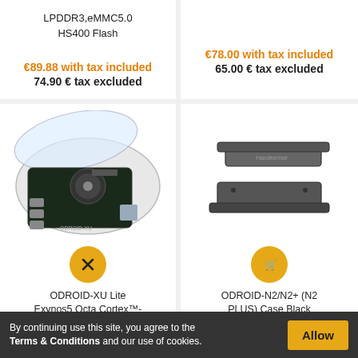LPDDR3,eMMC5.0 HS400 Flash
€89.88 with tax included
74.90 € tax excluded
€78.00 with tax included
65.00 € tax excluded
[Figure (photo): ODROID-XU Lite single board computer in a clear plastic case with fan visible, USB ports, and ODROID-XU label]
[Figure (photo): ODROID-N2/N2+ black case top and bottom pieces separated, dark metallic look]
ODROID-XU Lite Exynos5 Octa Cortex™-A15 1.4GHz
ODROID-N2/N2+ (N2 PLUS) Case Black (Hardkernel)
C18021294
By continuing use this site, you agree to the Terms & Conditions and our use of cookies.